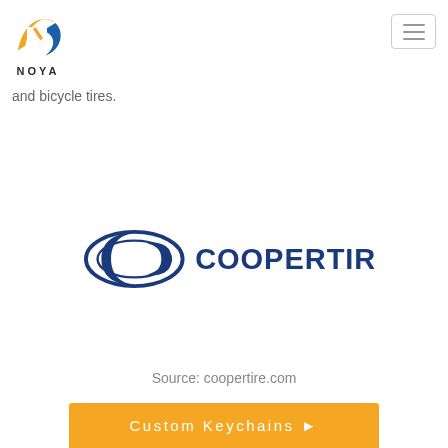[Figure (logo): NOYA logo with orange and blue stylized N mark and NOYA wordmark below]
[Figure (other): Hamburger menu button (three horizontal lines in a rounded rectangle border)]
and bicycle tires.
[Figure (logo): Cooper Tires logo in dark navy blue with stylized oval swoosh emblem and COOPERTIRES wordmark]
Source: coopertire.com
Custom Keychains ▶